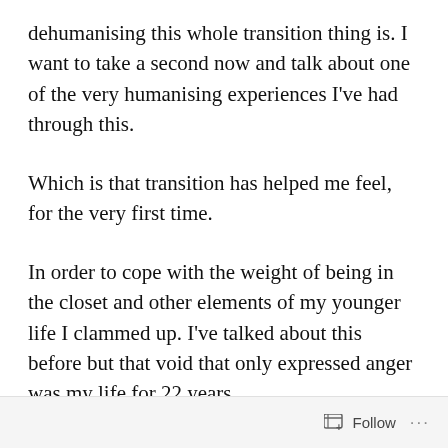dehumanising this whole transition thing is. I want to take a second now and talk about one of the very humanising experiences I've had through this.
Which is that transition has helped me feel, for the very first time.
In order to cope with the weight of being in the closet and other elements of my younger life I clammed up. I've talked about this before but that void that only expressed anger was my life for 22 years.
What I'm starting to discover now is that I am
Follow ...